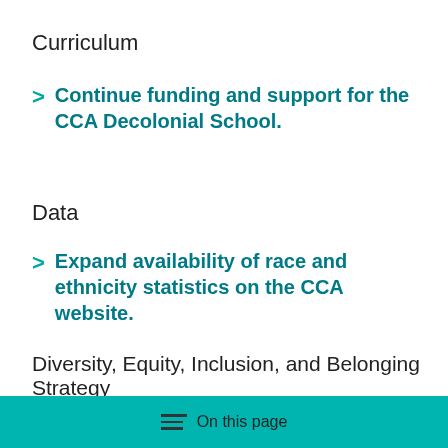Curriculum
Continue funding and support for the CCA Decolonial School.
Data
Expand availability of race and ethnicity statistics on the CCA website.
Diversity, Equity, Inclusion, and Belonging Strategy
On this page